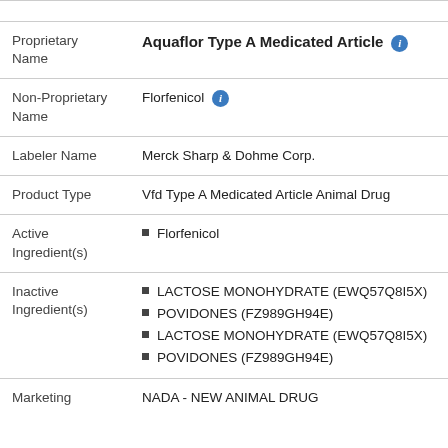| Field | Value |
| --- | --- |
| Proprietary Name | Aquaflor Type A Medicated Article |
| Non-Proprietary Name | Florfenicol |
| Labeler Name | Merck Sharp & Dohme Corp. |
| Product Type | Vfd Type A Medicated Article Animal Drug |
| Active Ingredient(s) | Florfenicol |
| Inactive Ingredient(s) | LACTOSE MONOHYDRATE (EWQ57Q8I5X); POVIDONES (FZ989GH94E); LACTOSE MONOHYDRATE (EWQ57Q8I5X); POVIDONES (FZ989GH94E) |
| Marketing | NADA - NEW ANIMAL DRUG |